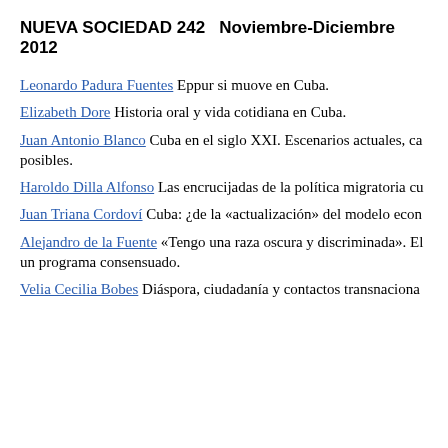NUEVA SOCIEDAD 242   Noviembre-Diciembre 2012
Leonardo Padura Fuentes Eppur si muove en Cuba.
Elizabeth Dore Historia oral y vida cotidiana en Cuba.
Juan Antonio Blanco Cuba en el siglo XXI. Escenarios actuales, ca posibles.
Haroldo Dilla Alfonso Las encrucijadas de la política migratoria cu
Juan Triana Cordoví Cuba: ¿de la «actualización» del modelo econ
Alejandro de la Fuente «Tengo una raza oscura y discriminada». El un programa consensuado.
Velia Cecilia Bobes Diáspora, ciudadanía y contactos transnaciona